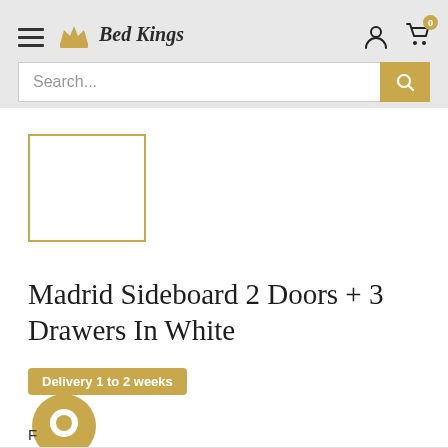Bed Kings
[Figure (screenshot): Search bar with magnifying glass button in gold]
[Figure (other): Product image placeholder — white box with gold border]
Madrid Sideboard 2 Doors + 3 Drawers In White
Delivery 1 to 2 weeks
F